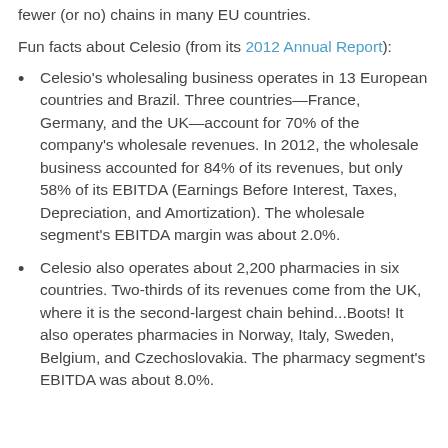fewer (or no) chains in many EU countries.
Fun facts about Celesio (from its 2012 Annual Report):
Celesio's wholesaling business operates in 13 European countries and Brazil. Three countries—France, Germany, and the UK—account for 70% of the company's wholesale revenues. In 2012, the wholesale business accounted for 84% of its revenues, but only 58% of its EBITDA (Earnings Before Interest, Taxes, Depreciation, and Amortization). The wholesale segment's EBITDA margin was about 2.0%.
Celesio also operates about 2,200 pharmacies in six countries. Two-thirds of its revenues come from the UK, where it is the second-largest chain behind...Boots! It also operates pharmacies in Norway, Italy, Sweden, Belgium, and Czechoslovakia. The pharmacy segment's EBITDA was about 8.0%.